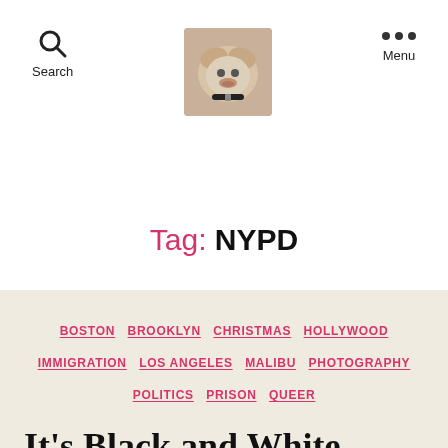Search  [logo image]  Menu
Tag: NYPD
BOSTON  BROOKLYN  CHRISTMAS  HOLLYWOOD  IMMIGRATION  LOS ANGELES  MALIBU  PHOTOGRAPHY  POLITICS  PRISON  QUEER
It's Black and White
By duncanroy22   December 8, 2014   3 Comments